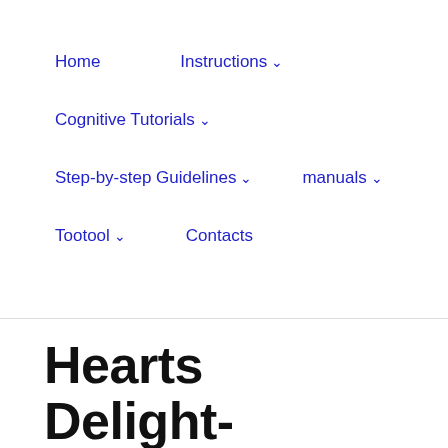Home   Instructions ∨   Cognitive Tutorials ∨   Step-by-step Guidelines ∨   manuals ∨   Tootool ∨   Contacts
Hearts Delight-Islington Aho...